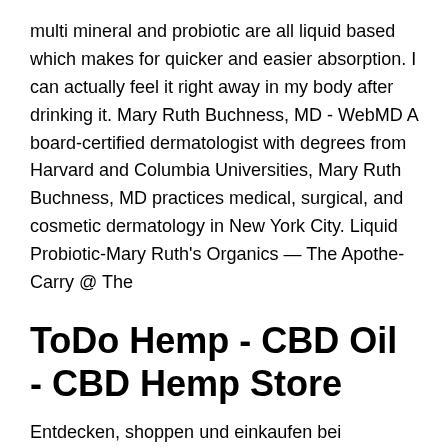multi mineral and probiotic are all liquid based which makes for quicker and easier absorption. I can actually feel it right away in my body after drinking it. Mary Ruth Buchness, MD - WebMD A board-certified dermatologist with degrees from Harvard and Columbia Universities, Mary Ruth Buchness, MD practices medical, surgical, and cosmetic dermatology in New York City. Liquid Probiotic-Mary Ruth's Organics — The Apothe-Carry @ The
ToDo Hemp - CBD Oil - CBD Hemp Store
Entdecken, shoppen und einkaufen bei Amazon.de: Günstige Preise für Elektronik & Foto, Filme, Musik, Bücher, Games, Spielzeug, Sportartikel, Drogerie & mehr bei Shop Hemp & CBD Oil Products | Mary's Nutritionals From skincare to wellness, Mary's Nutritionals, Mary's Methods, or Mary's Tails has something for you. Explore products. Mary Ruth Watt...